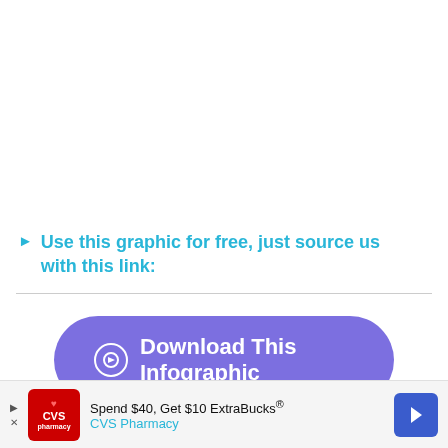Use this graphic for free, just source us with this link:
[Figure (other): Purple rounded button with right-arrow icon and text 'Download This Infographic']
Neutral Twins Birthday Party Theme Ideas
[Figure (other): CVS Pharmacy advertisement banner: 'Spend $40, Get $10 ExtraBucks® CVS Pharmacy']